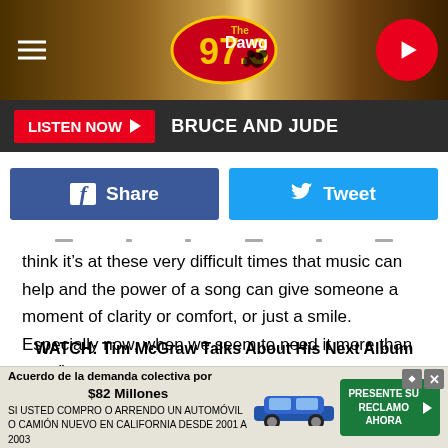[Figure (logo): 97.3 The Dawg radio station header with logo on wood-texture background, hamburger menu on left, play button on right]
[Figure (infographic): Dark bar with LISTEN NOW red button and BRUCE AND JUDE show name]
[Figure (infographic): Facebook Share and Twitter Tweet social sharing buttons]
think it's at these very difficult times that music can help and the power of a song can give someone a moment of clarity or comfort, or just a smile. Especially now, when we seem to need it more than ever.”
WATCH: Tim McGraw Talks About His Next Album
See Inside Tim McGraw and Faith Hill’s Historic Tennessee Home:
[Figure (infographic): Advertisement banner: Acuerdo de la demanda colectiva por $82 Millones - SI USTED COMPRO O ARRENDO UN AUTOMOVIL O CAMION NUEVO EN CALIFORNIA DESDE 2001 A 2003]